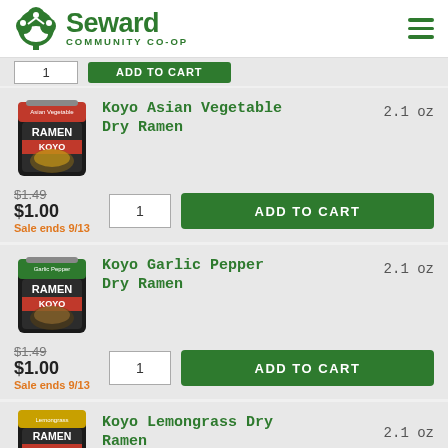Seward Community Co-op
[Figure (screenshot): Partial product cart row with quantity box and Add to Cart button]
[Figure (photo): Koyo Asian Vegetable Dry Ramen package (red/black)]
Koyo Asian Vegetable Dry Ramen  2.1 oz
$1.49 (original price, strikethrough) $1.00 Sale ends 9/13
[Figure (photo): Koyo Garlic Pepper Dry Ramen package (green/black)]
Koyo Garlic Pepper Dry Ramen  2.1 oz
$1.49 (original price, strikethrough) $1.00 Sale ends 9/13
[Figure (photo): Koyo Lemongrass Dry Ramen package (yellow/black)]
Koyo Lemongrass Dry Ramen  2.1 oz